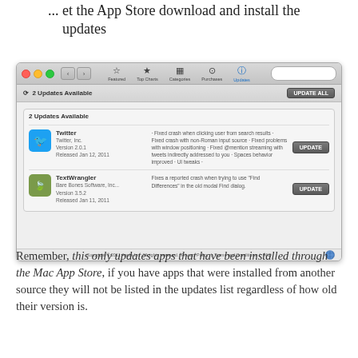... et the App Store download and install the updates
[Figure (screenshot): Mac App Store window showing 2 Updates Available: Twitter (Version 2.0.1, Released Jan 12, 2011) and TextWrangler (Version 3.5.2, Released Jan 11, 2011), each with an UPDATE button and an UPDATE ALL button at top right.]
Remember, this only updates apps that have been installed through the Mac App Store, if you have apps that were installed from another source they will not be listed in the updates list regardless of how old their version is.